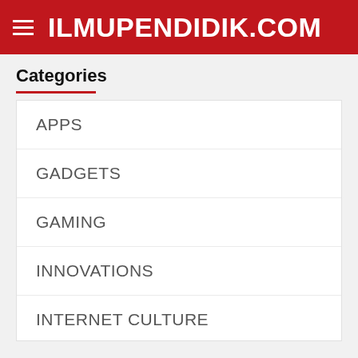ILMUPENDIDIK.COM
Categories
APPS
GADGETS
GAMING
INNOVATIONS
INTERNET CULTURE
We use cookies on our website to give you the most relevant experience by remembering your preferences and repeat visits. By clicking "Accept All", you consent to the use of ALL the cookies. However, you may visit "Cookie Settings" to provide a controlled consent.
Cookie Settings | Accept All